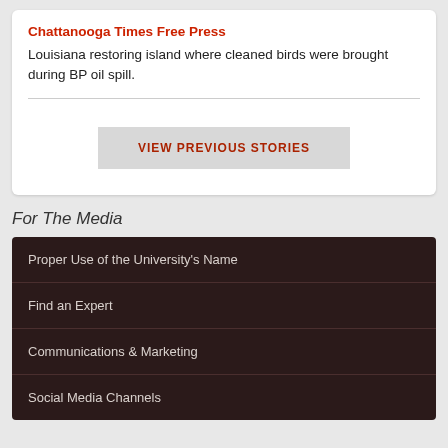Chattanooga Times Free Press
Louisiana restoring island where cleaned birds were brought during BP oil spill.
VIEW PREVIOUS STORIES
For The Media
Proper Use of the University's Name
Find an Expert
Communications & Marketing
Social Media Channels